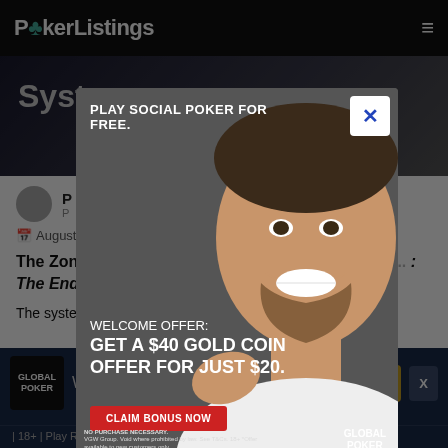PokerListings
System
[Figure (screenshot): Modal advertisement popup for Global Poker showing a man smiling with text: PLAY SOCIAL POKER FOR FREE. WELCOME OFFER: GET A $40 GOLD COIN OFFER FOR JUST $20. CLAIM BONUS NOW button. Global Poker branding and fine print.]
The Zone... Harrington... tournament strategy... The Endgame
The system... different zones has... to the
Welcome pack
| 18+ | Play Responsibly | T&C Apply